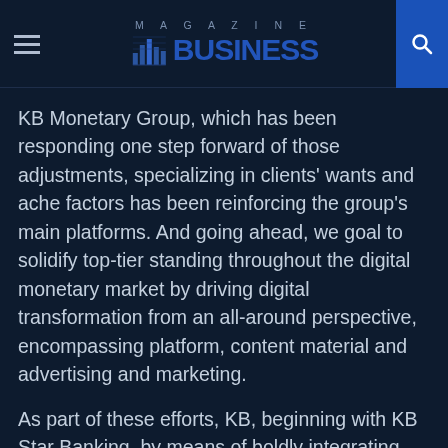MAGAZINE BUSINESS
KB Monetary Group, which has been responding one step forward of those adjustments, specializing in clients' wants and ache factors has been reinforcing the group's main platforms. And going ahead, we goal to solidify top-tier standing throughout the digital monetary market by driving digital transformation from an all-around perspective, encompassing platform, content material and advertising and marketing.
As part of these efforts, KB, beginning with KB Star Banking, by means of boldly integrating and reconfiguring the group's core service from the attitude of shoppers' comfort goals to strengthen KB's distinct platform competitiveness and turn out to be the prima..y, complete monetary platform, which is most beloved by